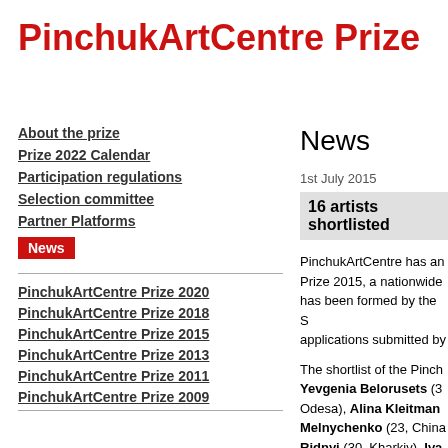PinchukArtCentre Prize
About the prize
Prize 2022 Calendar
Participation regulations
Selection committee
Partner Platforms
News
PinchukArtCentre Prize 2020
PinchukArtCentre Prize 2018
PinchukArtCentre Prize 2015
PinchukArtCentre Prize 2013
PinchukArtCentre Prize 2011
PinchukArtCentre Prize 2009
News
1st July 2015
16 artists shortlisted
PinchukArtCentre has announced the shortlist of the PinchukArtCentre Prize 2015, a nationwide open competition for young Ukrainian artists. The shortlist has been formed by the Selection Committee from over 800 applications submitted by...
The shortlist of the PinchukArtCentre Prize 2015 includes: Yevgenia Belorusets (30, Kyiv), Alina Kleitman (Odesa), Alina Kleitman Melnychenko (23, China...), Ridnyi (30, Kharkiv), Iva Yermolaeva (30, Kyiv), A Melnychuk (33, Kyiv), Ol Kovach (27, Lviv), Anton...